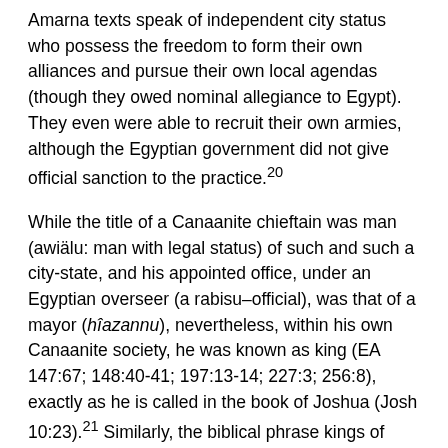Amarna texts speak of independent city status who possess the freedom to form their own alliances and pursue their own local agendas (though they owed nominal allegiance to Egypt). They even were able to recruit their own armies, although the Egyptian government did not give official sanction to the practice.20
While the title of a Canaanite chieftain was man (awiälu: man with legal status) of such and such a city-state, and his appointed office, under an Egyptian overseer (a rabisu–official), was that of a mayor (hîazannu), nevertheless, within his own Canaanite society, he was known as king (EA 147:67; 148:40-41; 197:13-14; 227:3; 256:8), exactly as he is called in the book of Joshua (Josh 10:23).21 Similarly, the biblical phrase kings of Canaan (Judg 5:19; cf. Josh 5:1)